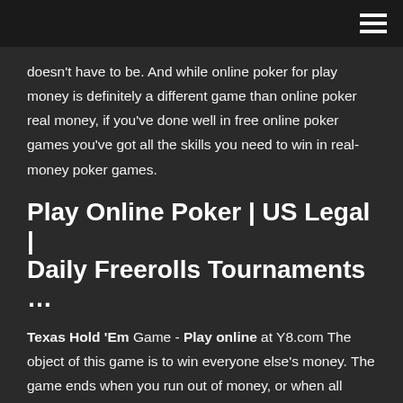doesn't have to be. And while online poker for play money is definitely a different game than online poker real money, if you've done well in free online poker games you've got all the skills you need to win in real-money poker games.
Play Online Poker | US Legal | Daily Freerolls Tournaments …
Texas Hold 'Em Game - Play online at Y8.com The object of this game is to win everyone else's money. The game ends when you run out of money, or when all other player's run out of money. This is one of the best poker games. Enjoy! Poker Online: Texas Holdem Card Game Live FREE - Slunečnice.cz Poker Online: Texas Holdem Card Game Live FREE